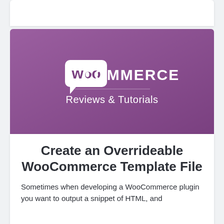[Figure (logo): WooCommerce Reviews & Tutorials banner: purple/mauve gradient background with WooCommerce logo (speech bubble icon with 'woo' text and 'COMMERCE' wordmark) and subtitle 'Reviews & Tutorials' in white text]
Create an Overrideable WooCommerce Template File
Sometimes when developing a WooCommerce plugin you want to output a snippet of HTML, and